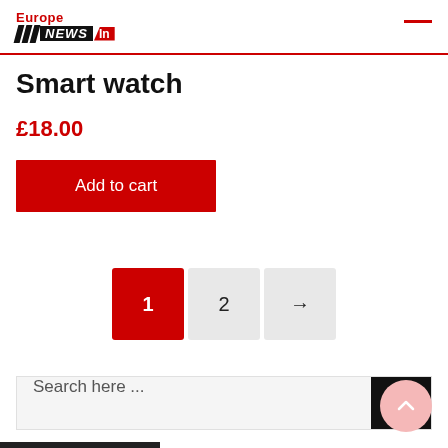Europe NEWS In
Smart watch
£18.00
Add to cart
1  2  →
Search here ...